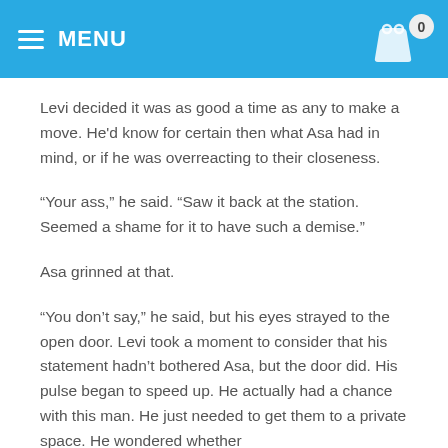MENU
Levi decided it was as good a time as any to make a move. He'd know for certain then what Asa had in mind, or if he was overreacting to their closeness.
“Your ass,” he said. “Saw it back at the station. Seemed a shame for it to have such a demise.”
Asa grinned at that.
“You don’t say,” he said, but his eyes strayed to the open door. Levi took a moment to consider that his statement hadn’t bothered Asa, but the door did. His pulse began to speed up. He actually had a chance with this man. He just needed to get them to a private space. He wondered whether